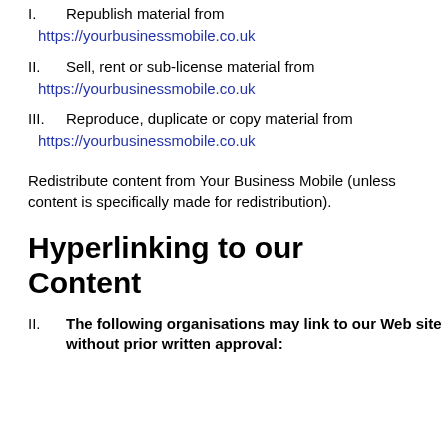I. Republish material from https://yourbusinessmobile.co.uk
II. Sell, rent or sub-license material from https://yourbusinessmobile.co.uk
III. Reproduce, duplicate or copy material from https://yourbusinessmobile.co.uk
Redistribute content from Your Business Mobile (unless content is specifically made for redistribution).
Hyperlinking to our Content
II. The following organisations may link to our Web site without prior written approval: